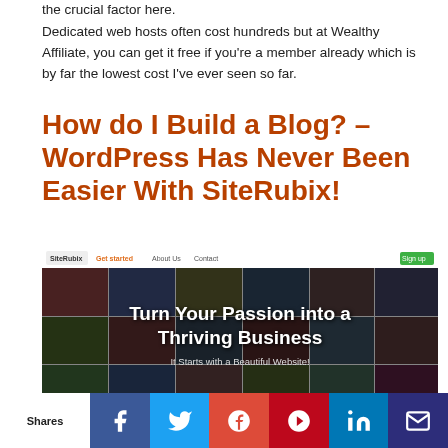the crucial factor here.
Dedicated web hosts often cost hundreds but at Wealthy Affiliate, you can get it free if you're a member already which is by far the lowest cost I've ever seen so far.
How do I Build a Blog? – WordPress Has Never Been Easier With SiteRubix!
[Figure (screenshot): Screenshot of SiteRubix website with navigation bar showing logo, 'Get started', 'About Us', 'Contact' links and a green Sign Up button. Hero section displays a grid of website thumbnails in background with overlay text 'Turn Your Passion into a Thriving Business' and subtext 'It Starts with a Beautiful Website!']
Shares | Facebook | Twitter | Google+ | Pinterest | LinkedIn | Email